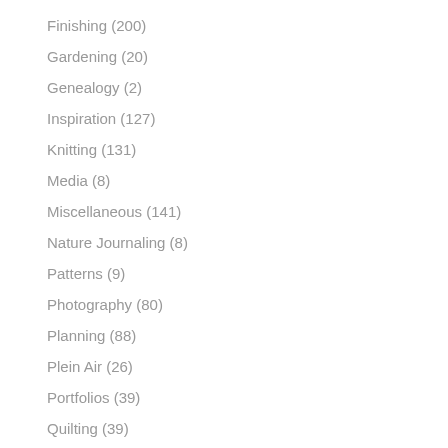Finishing (200)
Gardening (20)
Genealogy (2)
Inspiration (127)
Knitting (131)
Media (8)
Miscellaneous (141)
Nature Journaling (8)
Patterns (9)
Photography (80)
Planning (88)
Plein Air (26)
Portfolios (39)
Quilting (39)
Reading (92)